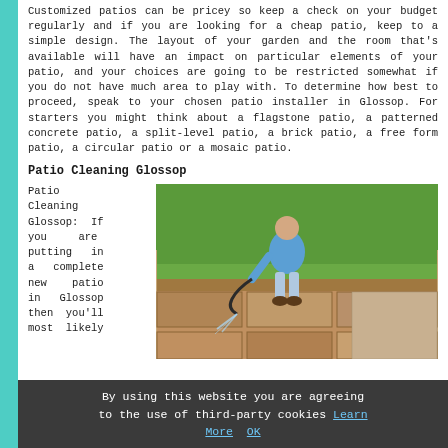Customized patios can be pricey so keep a check on your budget regularly and if you are looking for a cheap patio, keep to a simple design. The layout of your garden and the room that's available will have an impact on particular elements of your patio, and your choices are going to be restricted somewhat if you do not have much area to play with. To determine how best to proceed, speak to your chosen patio installer in Glossop. For starters you might think about a flagstone patio, a patterned concrete patio, a split-level patio, a brick patio, a free form patio, a circular patio or a mosaic patio.
Patio Cleaning Glossop
Patio Cleaning Glossop: If you are putting in a complete new patio in Glossop then you'll most likely
[Figure (photo): Man in blue shirt pressure washing a patio with brick and stone pavers, with green grass lawn in the background]
By using this website you are agreeing to the use of third-party cookies Learn More OK